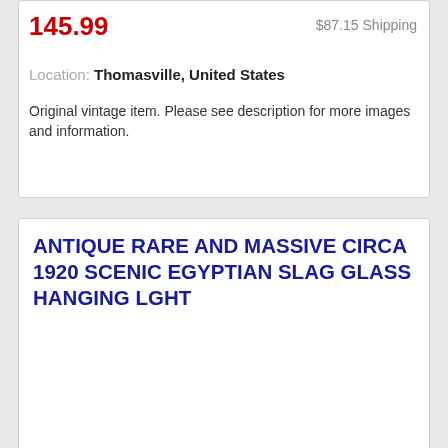145.99
$87.15 Shipping
Location: Thomasville, United States
Original vintage item. Please see description for more images and information.
ANTIQUE RARE AND MASSIVE CIRCA 1920 SCENIC EGYPTIAN SLAG GLASS HANGING LGHT
[Figure (photo): Photo of an antique circa 1920 scenic Egyptian slag glass hanging light fixture, showing a large stained/slag glass lampshade with yellow/amber glass panels and dark metal framing, with two visible light bulbs on arms, photographed against a wooden background.]